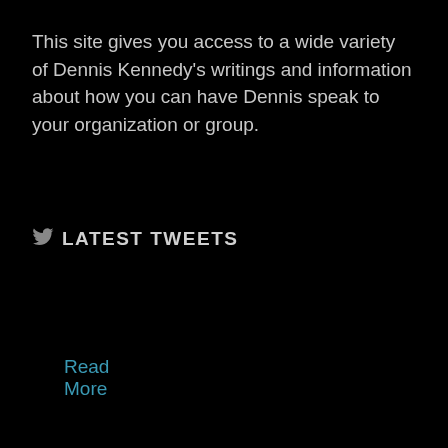This site gives you access to a wide variety of Dennis Kennedy's writings and information about how you can have Dennis speak to your organization or group.
Read More
LATEST TWEETS